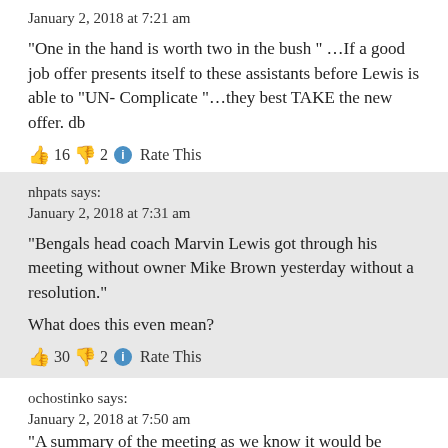January 2, 2018 at 7:21 am
“One in the hand is worth two in the bush ” …If a good job offer presents itself to these assistants before Lewis is able to “UN- Complicate “…they best TAKE the new offer. db
👍 16 👎 2 ℹ Rate This
nhpats says:
January 2, 2018 at 7:31 am
“Bengals head coach Marvin Lewis got through his meeting without owner Mike Brown yesterday without a resolution.”
What does this even mean?
👍 30 👎 2 ℹ Rate This
ochostinko says:
January 2, 2018 at 7:50 am
“A summary of the meeting as we know it would be helpful. More to